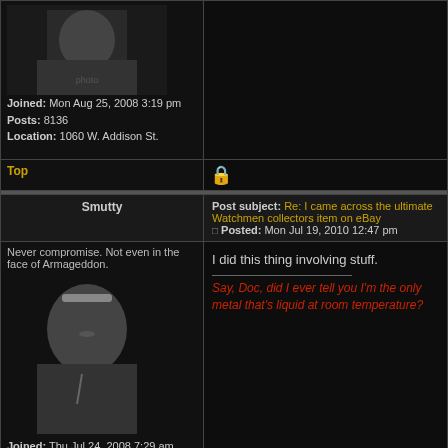Joined: Mon Aug 25, 2008 3:19 pm
Posts: 8136
Location: 1060 W. Addison St.
Top
Post subject: Re: I came across the ultimate Watchmen collectors item on eBay
Posted: Mon Jul 19, 2010 12:47 pm
Smutty
Never compromise. Not even in the face of Armageddon.
I did this thing involving stuff.
Say, Doc, did I ever tell you I'm the only metal that's liquid at room temperature?
Joined: Thu Jul 24, 2008 7:29 am
Posts: 4978
Top
Post subject: Re: I came across the ultimate Watchmen collectors item on eBay
JoeDoc